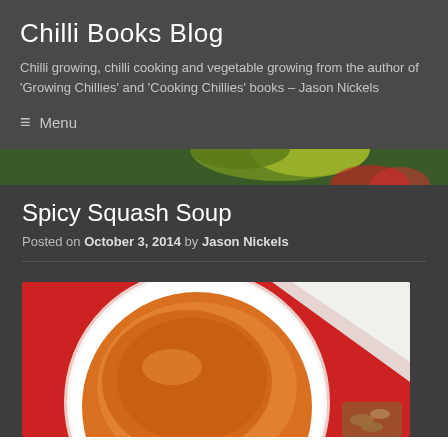Chilli Books Blog
Chilli growing, chilli cooking and vegetable growing from the author of 'Growing Chillies' and 'Cooking Chillies' books – Jason Nickels
≡  Menu
[Figure (photo): Banner strip showing green chilli peppers and foliage]
Spicy Squash Soup
Posted on October 3, 2014 by Jason Nickels
[Figure (photo): Close-up photo of a white bowl containing orange squash soup, photographed from above on a red background]